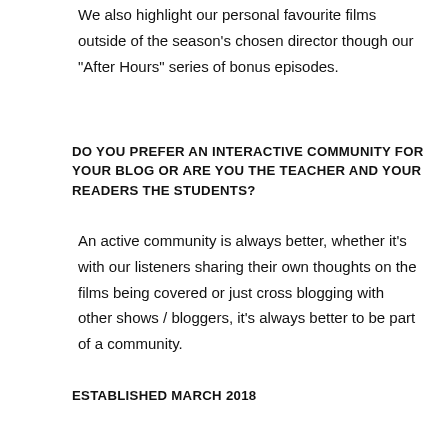We also highlight our personal favourite films outside of the season's chosen director though our "After Hours" series of bonus episodes.
DO YOU PREFER AN INTERACTIVE COMMUNITY FOR YOUR BLOG OR ARE YOU THE TEACHER AND YOUR READERS THE STUDENTS?
An active community is always better, whether it's with our listeners sharing their own thoughts on the films being covered or just cross blogging with other shows / bloggers, it's always better to be part of a community.
HOW LONG HAS THIS SITE BEEN ACTIVE FOR, AND HOW FREQUENTLY DO YOU POST UPDATES TO YOUR SITE? (NOTE: SITES MUST BE ACTIVE FOR AT LEAST THREE MONTHS FOR ENTRY TO THE LAMB.)
Established March 2018
NAME UP TO THREE OF YOUR FAVORITE MOVIES (AND NO MORE).
Event Horizon